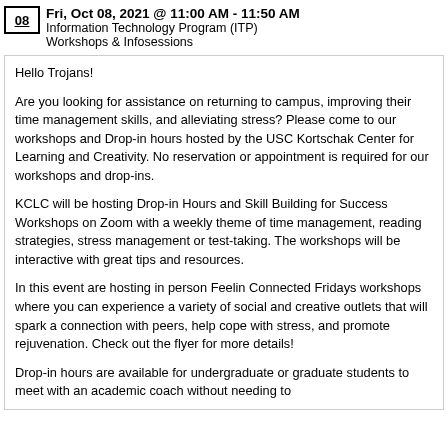08  Fri, Oct 08, 2021 @ 11:00 AM - 11:50 AM
Information Technology Program (ITP)
Workshops & Infosessions
Hello Trojans!

Are you looking for assistance on returning to campus, improving their time management skills, and alleviating stress? Please come to our workshops and Drop-in hours hosted by the USC Kortschak Center for Learning and Creativity. No reservation or appointment is required for our workshops and drop-ins.

KCLC will be hosting Drop-in Hours and Skill Building for Success Workshops on Zoom with a weekly theme of time management, reading strategies, stress management or test-taking. The workshops will be interactive with great tips and resources.

In this event are hosting in person Feelin Connected Fridays workshops where you can experience a variety of social and creative outlets that will spark a connection with peers, help cope with stress, and promote rejuvenation. Check out the flyer for more details!

Drop-in hours are available for undergraduate or graduate students to meet with an academic coach without needing to make a reservation, but you can also schedule...